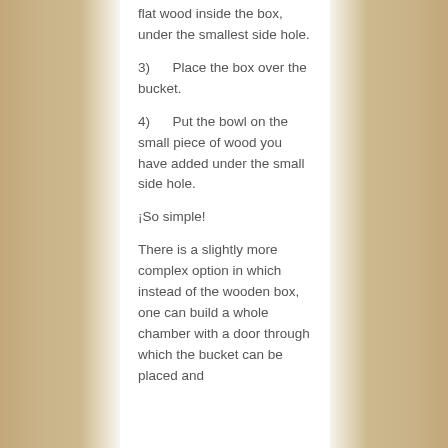flat wood inside the box, under the smallest side hole.
3)      Place the box over the bucket.
4)      Put the bowl on the small piece of wood you have added under the small side hole.
¡So simple!
There is a slightly more complex option in which instead of the wooden box, one can build a whole chamber with a door through which the bucket can be placed and